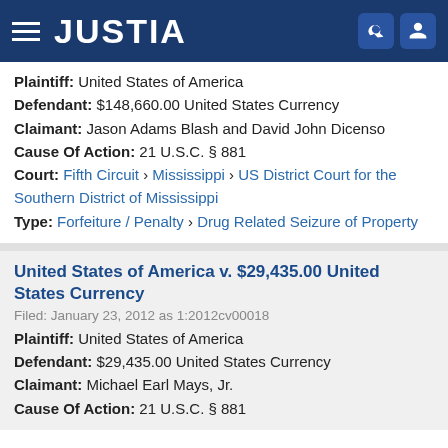JUSTIA
Plaintiff: United States of America
Defendant: $148,660.00 United States Currency
Claimant: Jason Adams Blash and David John Dicenso
Cause Of Action: 21 U.S.C. § 881
Court: Fifth Circuit › Mississippi › US District Court for the Southern District of Mississippi
Type: Forfeiture / Penalty › Drug Related Seizure of Property
United States of America v. $29,435.00 United States Currency
Filed: January 23, 2012 as 1:2012cv00018
Plaintiff: United States of America
Defendant: $29,435.00 United States Currency
Claimant: Michael Earl Mays, Jr.
Cause Of Action: 21 U.S.C. § 881